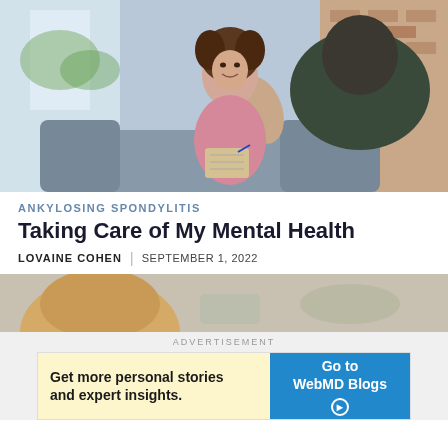[Figure (photo): A woman with curly hair in a pink top sits across from another person in a therapy or counseling session, holding a notepad and pen. The second person's back is to the camera with hand raised in conversation. Background shows a window with natural light and exposed brick wall.]
ANKYLOSING SPONDYLITIS
Taking Care of My Mental Health
LOVAINE COHEN | SEPTEMBER 1, 2022
[Figure (photo): Partial photo showing the back of a blonde person's head, suggesting continuation of an article with another image.]
ADVERTISEMENT
Get more personal stories and expert insights.
Go to WebMD Blogs